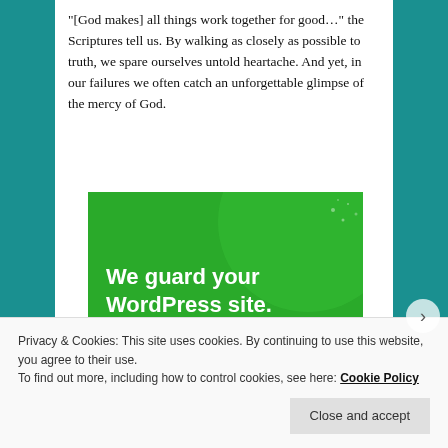“[God makes] all things work together for good…” the Scriptures tell us. By walking as closely as possible to truth, we spare ourselves untold heartache. And yet, in our failures we often catch an unforgettable glimpse of the mercy of God.
[Figure (illustration): Green advertisement banner reading 'We guard your WordPress site. You run your business.' with a circular graphic element and a button at the bottom.]
Privacy & Cookies: This site uses cookies. By continuing to use this website, you agree to their use.
To find out more, including how to control cookies, see here: Cookie Policy
Close and accept